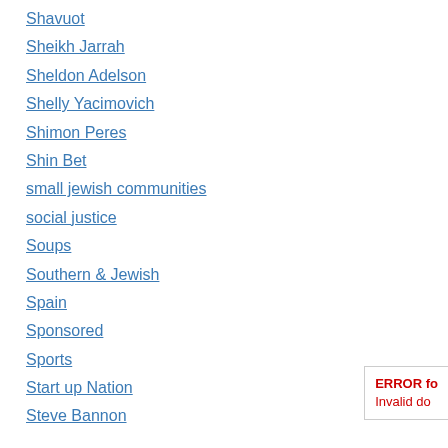Shavuot
Sheikh Jarrah
Sheldon Adelson
Shelly Yacimovich
Shimon Peres
Shin Bet
small jewish communities
social justice
Soups
Southern & Jewish
Spain
Sponsored
Sports
Start up Nation
Steve Bannon
ERROR fo
Invalid do